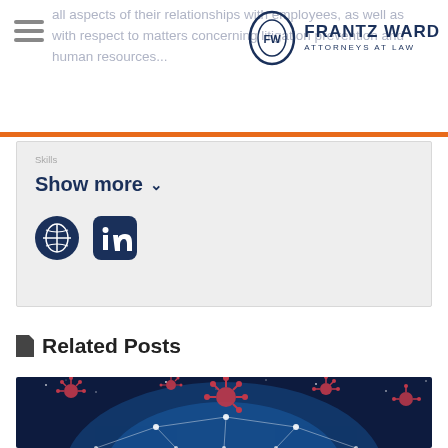Frantz Ward Attorneys at Law
all aspects of their relationships with employees, as well as with respect to matters concerning litigation prevention and human resources...
Show more
[Figure (illustration): Globe/world network illustration with coronavirus particles floating above it on dark blue background]
Related Posts